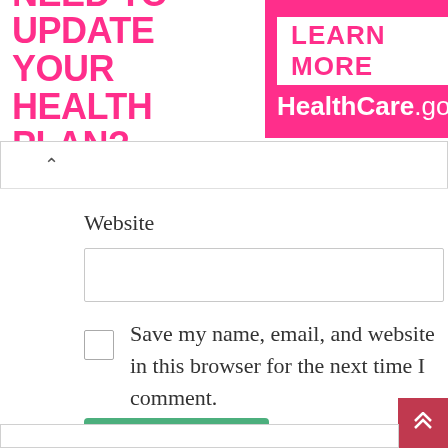[Figure (screenshot): Advertisement banner: left side white background with hot-pink bold text 'NEED TO UPDATE YOUR HEALTH PLAN?', right side hot-pink background with white box 'LEARN MORE' and white text 'HealthCare.gov']
Website
Save my name, email, and website in this browser for the next time I comment.
Post Comment